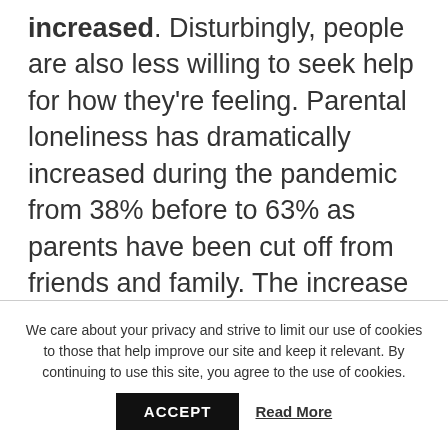increased. Disturbingly, people are also less willing to seek help for how they're feeling. Parental loneliness has dramatically increased during the pandemic from 38% before to 63% as parents have been cut off from friends and family. The increase in loneliness for parents is more apparent in the most deprived areas. These parents are more than twice as likely as those living in the least deprived areas to say they feel lonely often or always (13% compared with 5%). Compounding this, it
We care about your privacy and strive to limit our use of cookies to those that help improve our site and keep it relevant. By continuing to use this site, you agree to the use of cookies.
ACCEPT
Read More